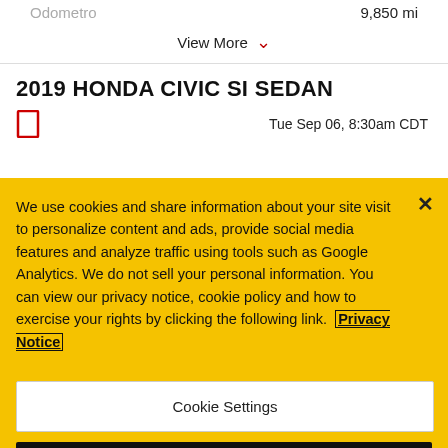Odometro   9,850 mi
View More
2019 HONDA CIVIC SI SEDAN
Tue Sep 06, 8:30am CDT
We use cookies and share information about your site visit to personalize content and ads, provide social media features and analyze traffic using tools such as Google Analytics. We do not sell your personal information. You can view our privacy notice, cookie policy and how to exercise your rights by clicking the following link. Privacy Notice
Cookie Settings
Reject All
Accept Cookies